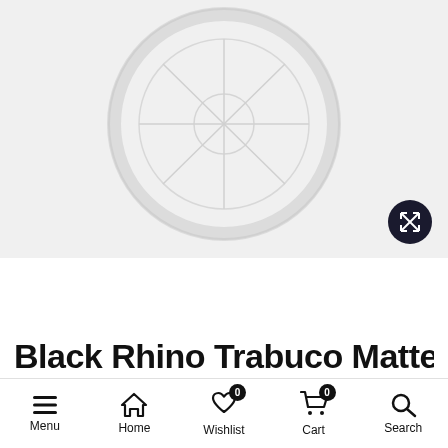[Figure (photo): Product image area showing a faint circular wheel/rim design on a light gray background with a dark expand/fullscreen button in the bottom right corner]
Black Rhino Trabuco Matte
Menu  Home  Wishlist 0  Cart 0  Search